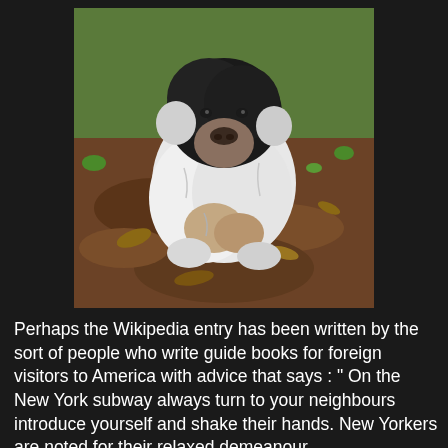[Figure (photo): A fluffy black and white dog sitting in a patch of dug-up dirt in a garden or park setting, surrounded by fallen leaves and small plants.]
Perhaps the Wikipedia entry has been written by the sort of people who write guide books for foreign visitors to America with advice that says : " On the New York subway always turn to your neighbours introduce yourself and shake their hands. New Yorkers are noted for their relaxed demeanour